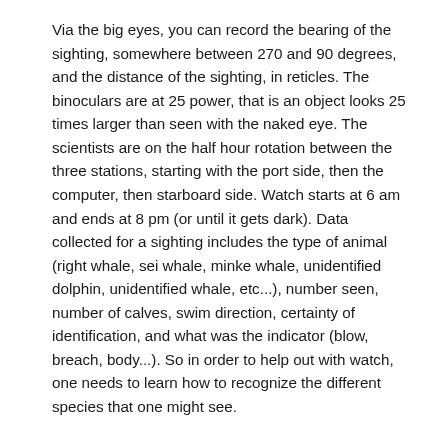Via the big eyes, you can record the bearing of the sighting, somewhere between 270 and 90 degrees, and the distance of the sighting, in reticles.  The binoculars are at 25 power, that is an object looks 25 times larger than seen with the naked eye.  The scientists are on the half hour rotation between the three stations, starting with the port side, then the computer, then starboard side.  Watch starts at 6 am and ends at 8 pm (or until it gets dark).  Data collected for a sighting includes the type of animal (right whale, sei whale, minke whale, unidentified dolphin, unidentified whale, etc...), number seen, number of calves, swim direction, certainty of identification, and what was the indicator (blow, breach, body...).  So in order to help out with watch, one needs to learn how to recognize the different species that one might see.